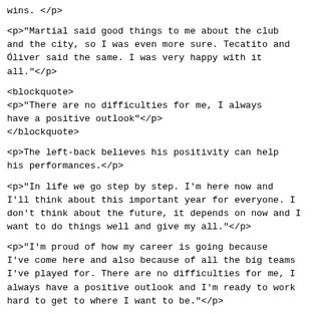wins. &lt;/p&gt;
&lt;p&gt;"Martial said good things to me about the club and the city, so I was even more sure. Tecatito and Óliver said the same. I was very happy with it all."&lt;/p&gt;
&lt;blockquote&gt;
&lt;p&gt;"There are no difficulties for me, I always have a positive outlook"&lt;/p&gt;
&lt;/blockquote&gt;
&lt;p&gt;The left-back believes his positivity can help his performances.&lt;/p&gt;
&lt;p&gt;"In life we go step by step. I'm here now and I'll think about this important year for everyone. I don't think about the future, it depends on now and I want to do things well and give my all."&lt;/p&gt;
&lt;p&gt;"I'm proud of how my career is going because I've come here and also because of all the big teams I've played for. There are no difficulties for me, I always have a positive outlook and I'm ready to work hard to get to where I want to be."&lt;/p&gt;
&lt;blockquote&gt;
&lt;p&gt;"Isco is a great player, I'm proud to play with players like that"&lt;/p&gt;
&lt;/blockquote&gt;